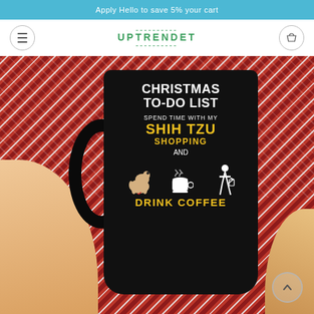Apply Hello to save 5% your cart
[Figure (logo): UPTRENDET store logo in green text with decorative lines above and below]
[Figure (photo): Product photo of a black coffee mug held by hands against a red knit sweater background. Mug reads: CHRISTMAS TO-DO LIST, spend time with my, SHIH TZU, SHOPPING, AND, DRINK COFFEE with illustrations of a Shih Tzu dog, coffee cup, and shopping woman silhouette.]